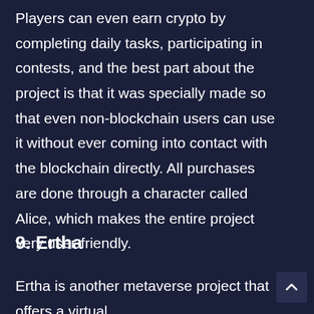Players can even earn crypto by completing daily tasks, participating in contests, and the best part about the project is that it was specially made so that even non-blockchain users can use it without ever coming into contact with the blockchain directly. All purchases are done through a character called Alice, which makes the entire project very user-friendly.
9. Ertha
Ertha is another metaverse project that offers a virtual